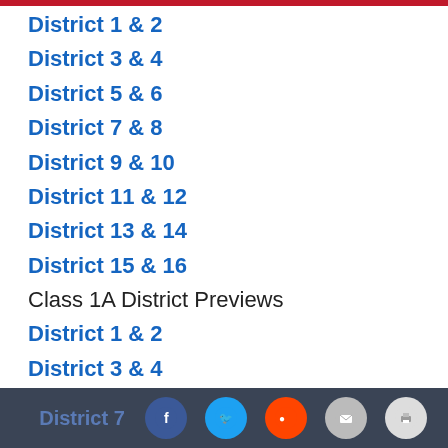District 1 & 2
District 3 & 4
District 5 & 6
District 7 & 8
District 9 & 10
District 11 & 12
District 13 & 14
District 15 & 16
Class 1A District Previews
District 1 & 2
District 3 & 4
District 5 & 6
District 7 [social share icons]